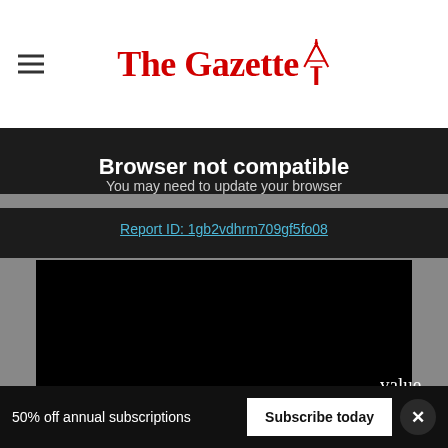The Gazette
Browser not compatible
You may need to update your browser
Report ID: 1gb2vdhrm709gf5fo08
[Figure (screenshot): Black video player area showing browser incompatibility]
value.
50% off annual subscriptions
Subscribe today